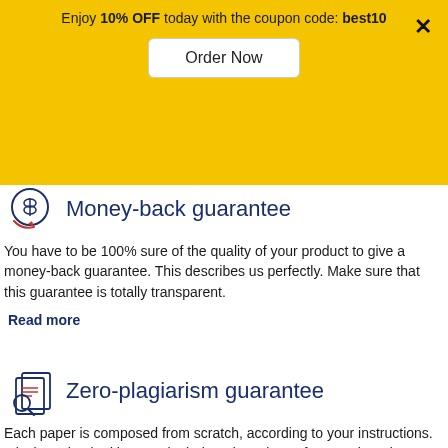Enjoy 10% OFF today with the coupon code: best10
Order Now
Money-back guarantee
You have to be 100% sure of the quality of your product to give a money-back guarantee. This describes us perfectly. Make sure that this guarantee is totally transparent.
Read more
Zero-plagiarism guarantee
Each paper is composed from scratch, according to your instructions. It is then checked by our plagiarism-detection software. There is no g plagiarism could squeeze in.
Chat